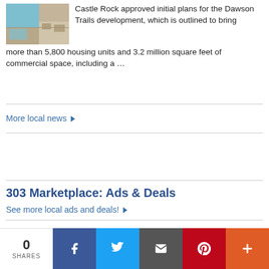[Figure (photo): Aerial photo of a development area, showing blue/teal surfaces and tan/beige ground.]
Castle Rock approved initial plans for the Dawson Trails development, which is outlined to bring more than 5,800 housing units and 3.2 million square feet of commercial space, including a …
More local news ▶
303 Marketplace: Ads & Deals
See more local ads and deals! ▶
Sports
0 SHARES